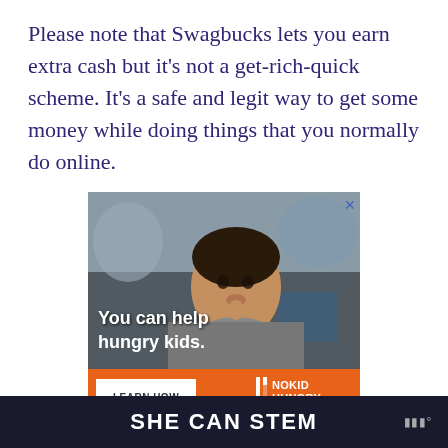Please note that Swagbucks lets you earn extra cash but it's not a get-rich-quick scheme. It's a safe and legit way to get some money while doing things that you normally do online.
[Figure (photo): Advertisement showing a young Asian boy eating something, with text overlay 'You can help hungry kids.' and a No Kid Hungry ad banner at the bottom with a 'LEARN HOW' button and No Kid Hungry logo.]
SHE CAN STEM